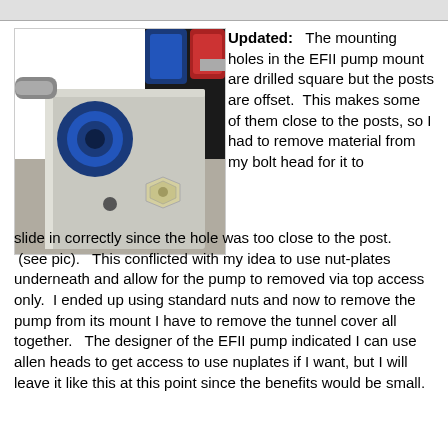[Figure (photo): Close-up photo of an EFII fuel pump mount showing a silver/aluminum block component with blue anodized fittings, red fitting at top, and a small bolt/nut visible. The mount is sitting on a grey surface.]
Updated:   The mounting holes in the EFII pump mount are drilled square but the posts are offset.  This makes some of them close to the posts, so I had to remove material from my bolt head for it to slide in correctly since the hole was too close to the post.  (see pic).   This conflicted with my idea to use nut-plates underneath and allow for the pump to removed via top access only.  I ended up using standard nuts and now to remove the pump from its mount I have to remove the tunnel cover all together.   The designer of the EFII pump indicated I can use allen heads to get access to use nuplates if I want, but I will leave it like this at this point since the benefits would be small.